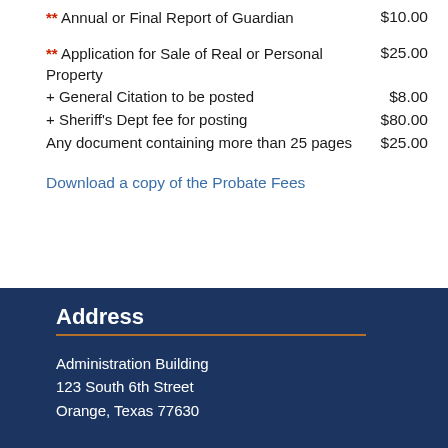** Annual or Final Report of Guardian  $10.00
** Application for Sale of Real or Personal Property  $25.00
+ General Citation to be posted  $8.00
+ Sheriff's Dept fee for posting  $80.00
Any document containing more than 25 pages  $25.00
Download a copy of the Probate Fees
Address
Administration Building
123 South 6th Street
Orange, Texas 77630